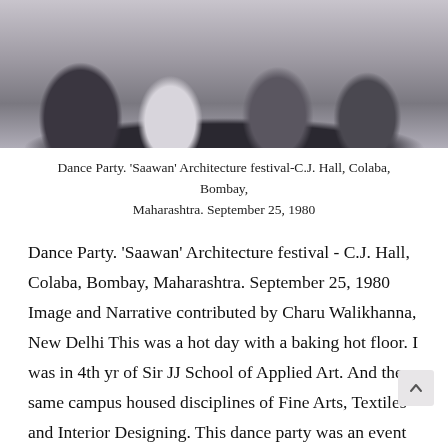[Figure (photo): Black and white photograph of people at a dance party, partially cropped at the top of the page.]
Dance Party. 'Saawan' Architecture festival-C.J. Hall, Colaba, Bombay, Maharashtra. September 25, 1980
Dance Party. 'Saawan' Architecture festival - C.J. Hall, Colaba, Bombay, Maharashtra. September 25, 1980 Image and Narrative contributed by Charu Walikhanna, New Delhi This was a hot day with a baking hot floor. I was in 4th yr of Sir JJ School of Applied Art. And the same campus housed disciplines of Fine Arts, Textiles and Interior Designing. This dance party was an event organised by JJ School of Architecture during their annual festival SAAWAN. The dance party in the image was not in our campus but in a hall in Colaba. I was about 5km ills in ...